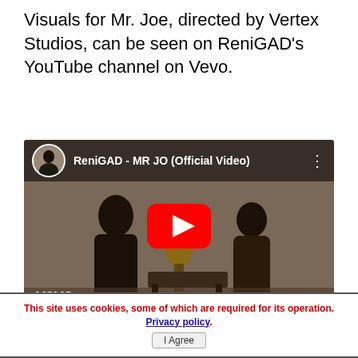Visuals for Mr. Joe, directed by Vertex Studios, can be seen on ReniGAD's YouTube channel on Vevo.
[Figure (screenshot): YouTube video embed showing ReniGAD - MR JO (Official Video) with Vevo branding. Two people facing each other in a scene with a plant/decoration between them. Red YouTube play button overlay in center. Channel avatar and title bar at top.]
This site uses cookies, some of which are required for its operation. Privacy policy. I Agree